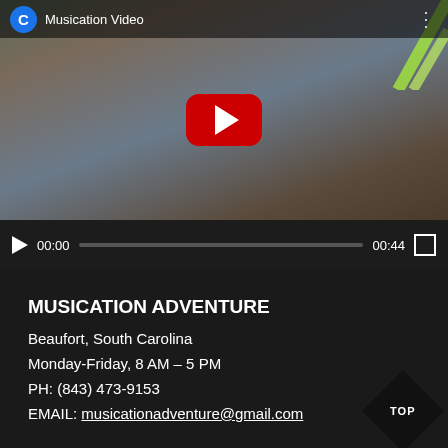[Figure (screenshot): YouTube video player showing a woman with blonde hair in a colorful blazer. The video is titled 'Musication Video' with a channel icon showing 'C'. A red YouTube play button is centered on the thumbnail. Video controls show 00:00 current time and 00:44 total duration.]
MUSICATION ADVENTURE
Beaufort, South Carolina
Monday-Friday, 8 AM – 5 PM
PH: (843) 473-9153
EMAIL: musicationadventure@gmail.com